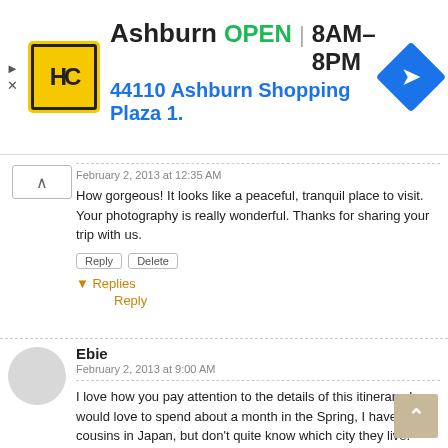[Figure (other): Advertisement banner: HC logo (yellow/black), Ashburn OPEN 8AM-8PM, 44110 Ashburn Shopping Plaza 1., navigation icon]
February 2, 2013 at 12:35 AM
How gorgeous! It looks like a peaceful, tranquil place to visit. Your photography is really wonderful. Thanks for sharing your trip with us.
▼ Replies
Reply
Ebie
February 2, 2013 at 9:00 AM
I love how you pay attention to the details of this itinerary. I would love to spend about a month in the Spring, I have two cousins in Japan, but don't quite know which city they live.

Thanks for stopping by. I already took away the widget on location.